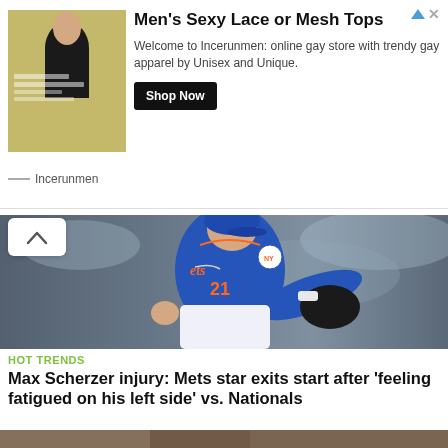[Figure (screenshot): Advertisement banner for Incerunmen online store showing a man in a black mesh top, with text 'Men's Sexy Lace or Mesh Tops', description 'Welcome to Incerunmen: online gay store with trendy gay apparel by Unisex and Unique.', and a 'Shop Now' button.]
[Figure (photo): New York Mets pitcher Max Scherzer (#21) in a blue Mets uniform mid-pitch against a blurred stadium crowd background.]
HOT TRENDS
Max Scherzer injury: Mets star exits start after 'feeling fatigued on his left side' vs. Nationals
by 24USATV   Sept. 5, 2022, 3 a.m.    2
[Figure (photo): Partial thumbnail of another article image at the bottom of the page.]